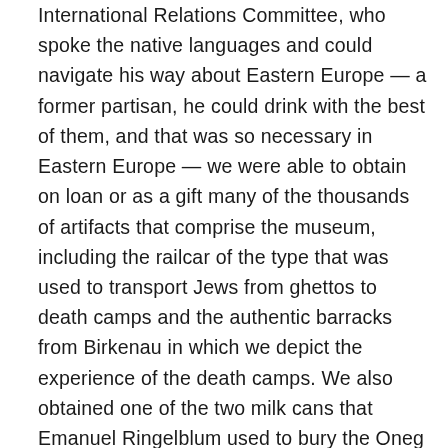International Relations Committee, who spoke the native languages and could navigate his way about Eastern Europe — a former partisan, he could drink with the best of them, and that was so necessary in Eastern Europe — we were able to obtain on loan or as a gift many of the thousands of artifacts that comprise the museum, including the railcar of the type that was used to transport Jews from ghettos to death camps and the authentic barracks from Birkenau in which we depict the experience of the death camps. We also obtained one of the two milk cans that Emanuel Ringelblum used to bury the Oneg Shabbes archives in Warsaw; and 5,000 shoes, a dissecting table and a crematorium door from Majdanek, which shape the visitors' understanding of gassing. Because of the plethora of artifacts, we were able to give the visitors a sense that a story lies behind each artifact.